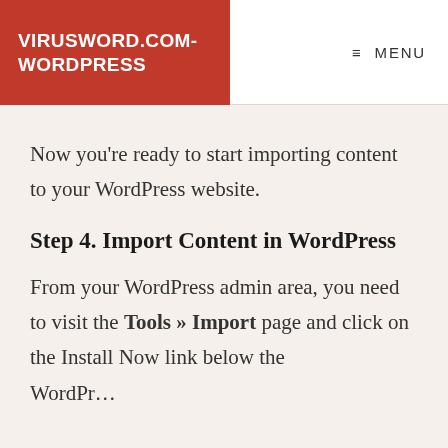VIRUSWORD.COM-WORDPRESS
Now you're ready to start importing content to your WordPress website.
Step 4. Import Content in WordPress
From your WordPress admin area, you need to visit the Tools » Import page and click on the Install Now link below the WordPress importer.